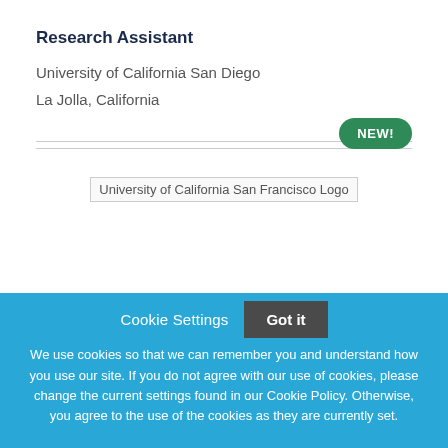Research Assistant
University of California San Diego
La Jolla, California
[Figure (logo): University of California San Francisco Logo]
Cookie Settings   Got it
We use cookies so that we can remember you and understand how you use our site. If you do not agree with our use of cookies, please change the current settings found in our Cookie Policy. Otherwise, you agree to the use of the cookies as they are currently set.